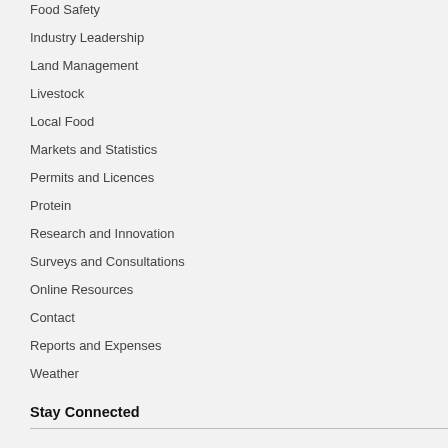Food Safety
Industry Leadership
Land Management
Livestock
Local Food
Markets and Statistics
Permits and Licences
Protein
Research and Innovation
Surveys and Consultations
Online Resources
Contact
Reports and Expenses
Weather
Stay Connected